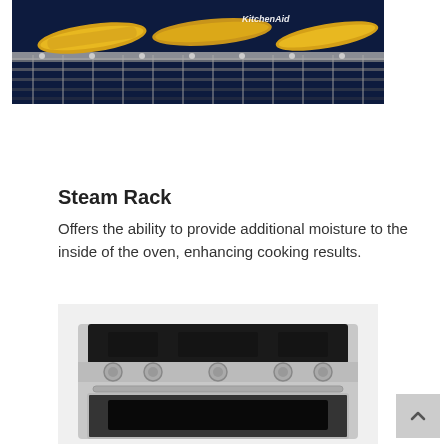[Figure (photo): Close-up photo of a KitchenAid oven interior with corn on the cob on a grill rack, showing the oven rack and blue oven cavity with KitchenAid branding.]
Steam Rack
Offers the ability to provide additional moisture to the inside of the oven, enhancing cooking results.
[Figure (photo): Photo of a stainless steel KitchenAid range/stove with black cooktop, five burner knobs, and oven door visible from the front.]